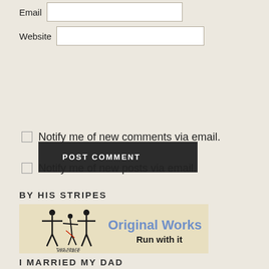Email
Website
POST COMMENT
Notify me of new comments via email.
Notify me of new posts via email.
BY HIS STRIPES
[Figure (illustration): Original Works banner with silhouette figures and text 'Original Works Run with it' on a tan/beige background with 'THIS SPACE AVAILABLE' text.]
I MARRIED MY DAD